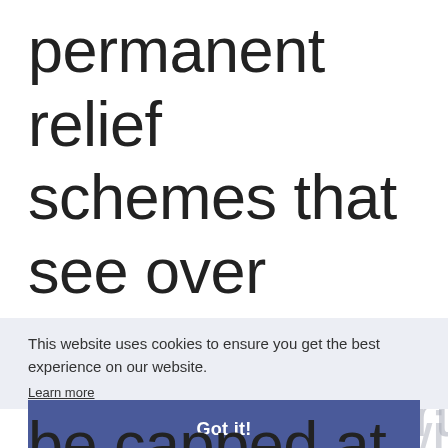permanent relief schemes that see over 85,000 properties continue to receive support. The scheme will be capped at
This website uses cookies to ensure you get the best experience on our website.
Learn more
Got it!